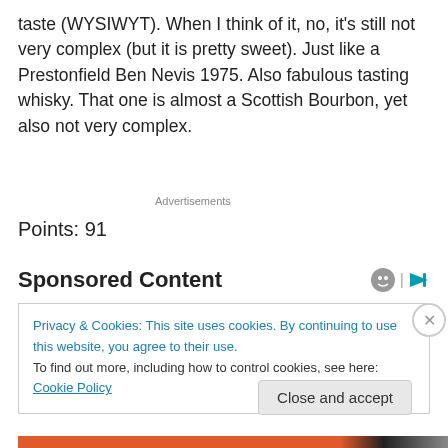taste (WYSIWYT). When I think of it, no, it's still not very complex (but it is pretty sweet). Just like a Prestonfield Ben Nevis 1975. Also fabulous tasting whisky. That one is almost a Scottish Bourbon, yet also not very complex.
Advertisements
Points: 91
Sponsored Content
Privacy & Cookies: This site uses cookies. By continuing to use this website, you agree to their use.
To find out more, including how to control cookies, see here: Cookie Policy
Close and accept